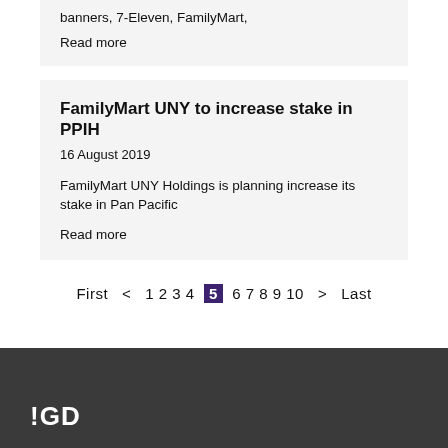banners, 7-Eleven, FamilyMart,
Read more
FamilyMart UNY to increase stake in PPIH
16 August 2019
FamilyMart UNY Holdings is planning increase its stake in Pan Pacific
Read more
First  <  1 2 3 4 5 6 7 8 9 10  >  Last
IGD